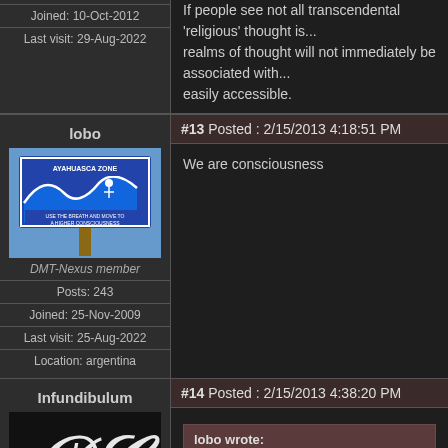If people see not all transcendental 'religious' thought is... realms of thought will not immediately be associated with... easily accessible.
Joined: 10-Oct-2012
Last visit: 29-Aug-2022
lobo
#13 Posted : 2/15/2013 4:18:51 PM
[Figure (photo): Ayahuasca Zone sign with wave and surfer graphic]
DMT-Nexus member
Posts: 243
Joined: 25-Nov-2009
Last visit: 25-Aug-2022
Location: argentina
We are consciousness
Infundibulum
#14 Posted : 2/15/2013 4:38:20 PM
[Figure (logo): Black background with white DC stylized logo]
lobo wrote:
We are consciousness
What a generic one-size-fits-all one liner...
Kalt und Heiß, Schwarz und Rot, Körper und Geist, Liebe